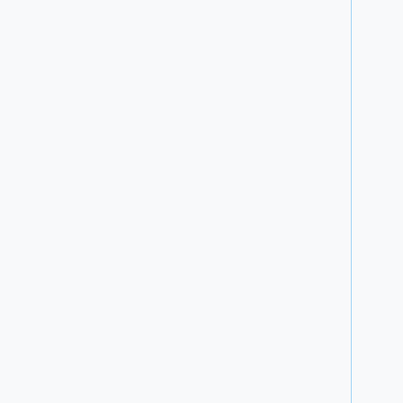| Time | Topic | People |
| --- | --- | --- |
| 19:00–21:00 UTC
#
11:00–13:00 PST | MediaWiki train | Mukunda (twentyafter… |
| 21:00–22:00 UTC
#
13:00–14:00 PST | Services – Parsoid / OCG / Citoid / Mobileapps / … | Gabriel (gwick…
C.Scott (cscot…
Arlo (arlolra…
Subbu (subbu…
Bernd (bearND…
Michael (mdholloway) |
| Thursday, December 10 |  |  |
| 00:00–01:00 UTC | Evening | Roan |